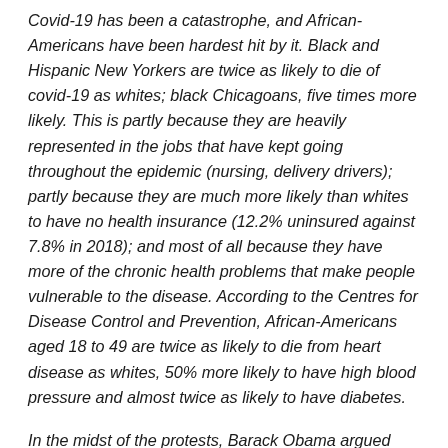Covid-19 has been a catastrophe, and African-Americans have been hardest hit by it. Black and Hispanic New Yorkers are twice as likely to die of covid-19 as whites; black Chicagoans, five times more likely. This is partly because they are heavily represented in the jobs that have kept going throughout the epidemic (nursing, delivery drivers); partly because they are much more likely than whites to have no health insurance (12.2% uninsured against 7.8% in 2018); and most of all because they have more of the chronic health problems that make people vulnerable to the disease. According to the Centres for Disease Control and Prevention, African-Americans aged 18 to 49 are twice as likely to die from heart disease as whites, 50% more likely to have high blood pressure and almost twice as likely to have diabetes.
In the midst of the protests, Barack Obama argued that